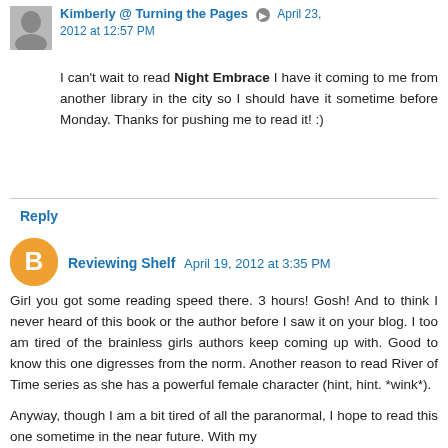[Figure (photo): Small avatar photo of a woman (Kimberly), grayscale, top-left of first comment]
Kimberly @ Turning the Pages  April 23, 2012 at 12:57 PM
I can't wait to read Night Embrace I have it coming to me from another library in the city so I should have it sometime before Monday. Thanks for pushing me to read it! :)
Reply
[Figure (logo): Circular orange Blogger 'B' icon avatar for Reviewing Shelf]
Reviewing Shelf  April 19, 2012 at 3:35 PM
Girl you got some reading speed there. 3 hours! Gosh! And to think I never heard of this book or the author before I saw it on your blog. I too am tired of the brainless girls authors keep coming up with. Good to know this one digresses from the norm. Another reason to read River of Time series as she has a powerful female character (hint, hint. *wink*).
Anyway, though I am a bit tired of all the paranormal, I hope to read this one sometime in the near future. With my current growing TBR...